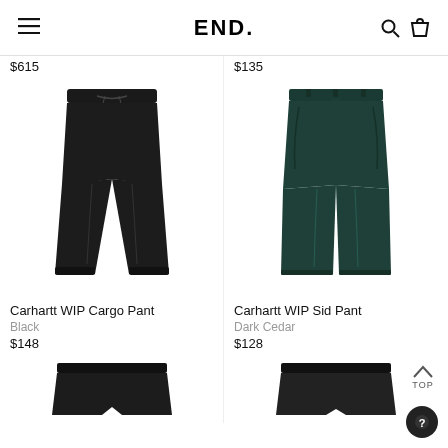END.
$615
$135
[Figure (photo): Black Carhartt WIP Cargo Pant, drawstring waist jogger style, laid flat on white background]
[Figure (photo): Dark Cedar (dark green) Carhartt WIP Sid Pant, straight leg chino style, laid flat on white background]
Carhartt WIP Cargo Pant
Black
$148
Carhartt WIP Sid Pant
Dark Cedar
$128
[Figure (photo): Partial view of another black pant product at bottom left]
[Figure (photo): Partial view of another black short/pant product at bottom right]